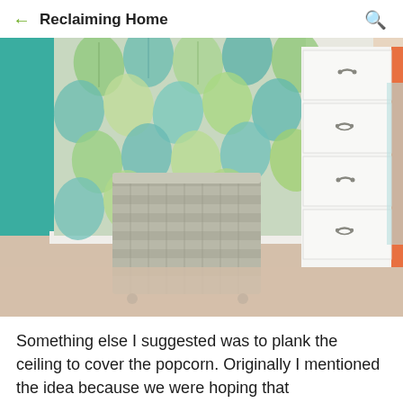← Reclaiming Home 🔍
[Figure (photo): Interior room photo showing a corner with teal painted wall, leaf-patterned wallpaper (green and teal tones), a woven grey laundry basket on casters, and a white four-drawer dresser with decorative drawer pulls, on beige carpet.]
Something else I suggested was to plank the ceiling to cover the popcorn. Originally I mentioned the idea because we were hoping that